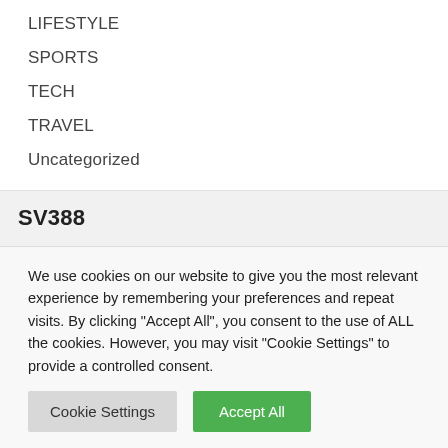LIFESTYLE
SPORTS
TECH
TRAVEL
Uncategorized
SV388
We use cookies on our website to give you the most relevant experience by remembering your preferences and repeat visits. By clicking "Accept All", you consent to the use of ALL the cookies. However, you may visit "Cookie Settings" to provide a controlled consent.
Cookie Settings
Accept All